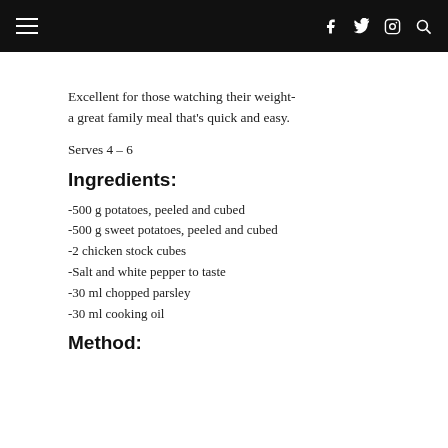Excellent for those watching their weight- a great family meal that's quick and easy.
Serves 4 – 6
Ingredients:
-500 g potatoes, peeled and cubed
-500 g sweet potatoes, peeled and cubed
-2 chicken stock cubes
-Salt and white pepper to taste
-30 ml chopped parsley
-30 ml cooking oil
Method: